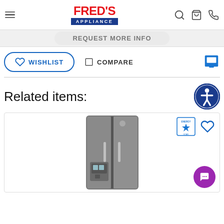Fred's Appliance
[Figure (screenshot): Partially visible button bar with rounded rectangle, text partially visible]
[Figure (infographic): Wishlist button with heart icon, Compare button with checkbox, Print icon]
Related items:
[Figure (photo): GE slate/slate side-by-side refrigerator with ice and water dispenser, Energy Star badge, heart wishlist icon, and purple chat FAB button]